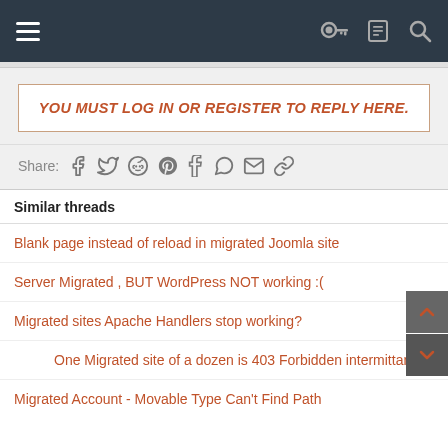Navigation header with hamburger menu and icons
YOU MUST LOG IN OR REGISTER TO REPLY HERE.
Share: [social icons]
Similar threads
Blank page instead of reload in migrated Joomla site
Server Migrated , BUT WordPress NOT working :(
Migrated sites Apache Handlers stop working?
One Migrated site of a dozen is 403 Forbidden intermittantly
Migrated Account - Movable Type Can't Find Path